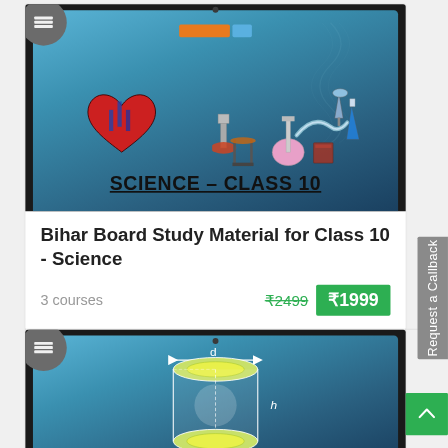[Figure (screenshot): Science Class 10 course card with tablet showing heart and chemistry lab equipment on teal background, with text SCIENCE – CLASS 10]
Bihar Board Study Material for Class 10 - Science
3 courses
₹2499  ₹1999
[Figure (illustration): Math course card with tablet showing cylinder geometry diagram with labels d and h on teal background]
Request a Callback